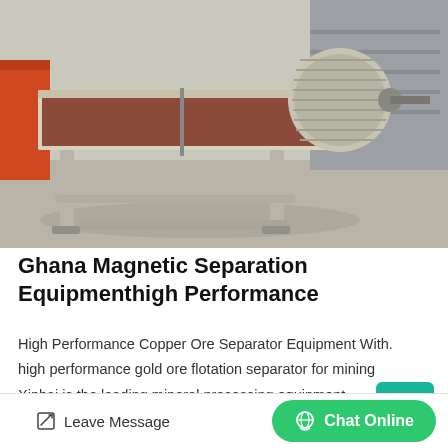[Figure (photo): Industrial magnetic separation equipment — a large grey metal machine with a cylindrical drum and trough on a concrete floor, with orange and grey machinery visible in the background.]
Ghana Magnetic Separation Equipmenthigh Performance
High Performance Copper Ore Separator Equipment With. high performance gold ore flotation separator for mining Xinhai is the leading mineral processing equipment manufacturers at home and ...